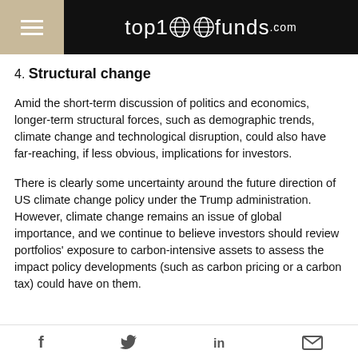top1000funds.com
4. Structural change
Amid the short-term discussion of politics and economics, longer-term structural forces, such as demographic trends, climate change and technological disruption, could also have far-reaching, if less obvious, implications for investors.
There is clearly some uncertainty around the future direction of US climate change policy under the Trump administration. However, climate change remains an issue of global importance, and we continue to believe investors should review portfolios' exposure to carbon-intensive assets to assess the impact policy developments (such as carbon pricing or a carbon tax) could have on them.
Social share icons: Facebook, Twitter, LinkedIn, Email